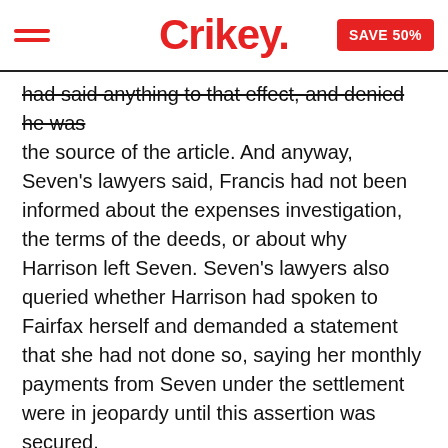Crikey. SAVE 50%
had said anything to that effect, and denied he was the source of the article. And anyway, Seven's lawyers said, Francis had not been informed about the expenses investigation, the terms of the deeds, or about why Harrison left Seven. Seven's lawyers also queried whether Harrison had spoken to Fairfax herself and demanded a statement that she had not done so, saying her monthly payments from Seven under the settlement were in jeopardy until this assertion was secured.
Fairfax never responded to the legal letter, and Harrison did not pursue the matter with Fairfax further.